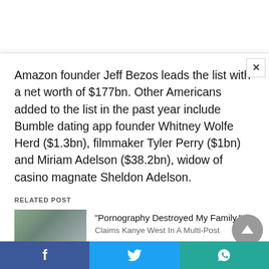Amazon founder Jeff Bezos leads the list with a net worth of $177bn. Other Americans added to the list in the past year include Bumble dating app founder Whitney Wolfe Herd ($1.3bn), filmmaker Tyler Perry ($1bn) and Miriam Adelson ($38.2bn), widow of casino magnate Sheldon Adelson.
RELATED POST
"Pornography Destroyed My Family," Claims Kanye West In A Multi-Post...